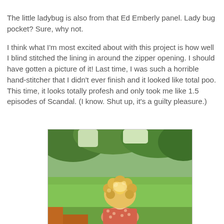The little ladybug is also from that Ed Emberly panel. Lady bug pocket? Sure, why not.
I think what I'm most excited about with this project is how well I blind stitched the lining in around the zipper opening. I should have gotten a picture of it! Last time, I was such a horrible hand-stitcher that I didn't ever finish and it looked like total poo. This time, it looks totally profesh and only took me like 1.5 episodes of Scandal. (I know. Shut up, it's a guilty pleasure.)
[Figure (photo): Photo of a child with curly blonde hair viewed from behind, sitting outdoors on what appears to be a wooden structure, with green grass and trees in the background.]